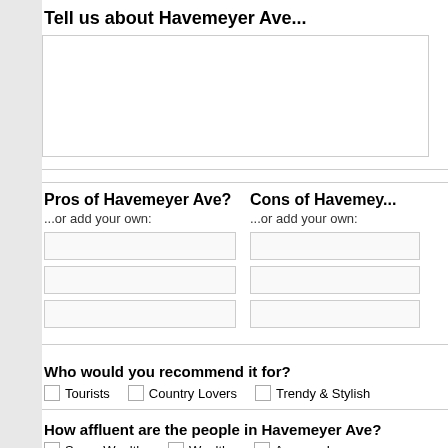Tell us about Havemeyer Ave...
Pros of Havemeyer Ave?
Cons of Havemeyer Ave?
...or add your own:
Who would you recommend it for?
Tourists
Country Lovers
Trendy & Stylish
How affluent are the people in Havemeyer Ave?
Super Wealthy
Wealthy
Average Income
How do you know Havemeyer Ave?